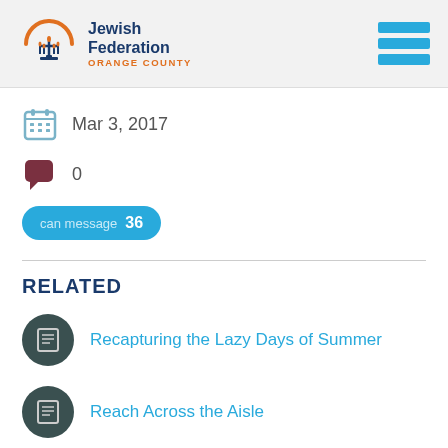[Figure (logo): Jewish Federation Orange County logo with menorah icon and orange/blue text]
Mar 3, 2017
0
can message  36
RELATED
Recapturing the Lazy Days of Summer
Reach Across the Aisle